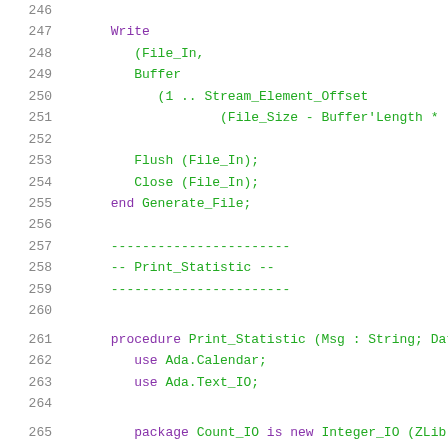246
247    Write
248       (File_In,
249       Buffer
250          (1 .. Stream_Element_Offset
251                (File_Size - Buffer'Length *
252
253       Flush (File_In);
254       Close (File_In);
255    end Generate_File;
256
257    -----------------------
258    -- Print_Statistic --
259    -----------------------
260
261    procedure Print_Statistic (Msg : String; Data
262       use Ada.Calendar;
263       use Ada.Text_IO;
264
265       package Count_IO is new Integer_IO (ZLib.
266